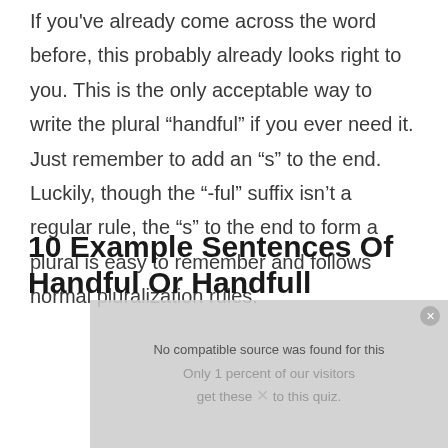If you've already come across the word before, this probably already looks right to you. This is the only acceptable way to write the plural “handful” if you ever need it. Just remember to add an “s” to the end. Luckily, though the “-ful” suffix isn’t a regular rule, the “s” to the end to form a plural is easy to remember and follows normal pluralization rules.
10 Example Sentences Of Handful Or Handfull
[Figure (other): Video overlay with message: No compatible source was found for this. Only 1 percent of our visitors get these 2 ks to this quiz.]